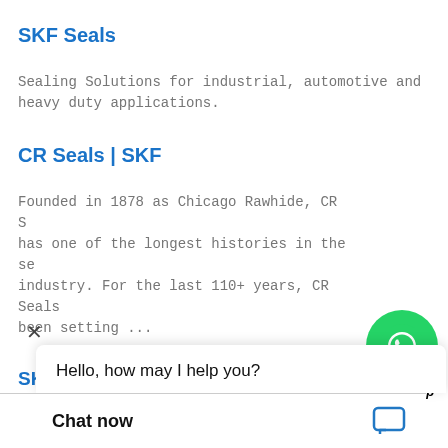SKF Seals
Sealing Solutions for industrial, automotive and heavy duty applications.
CR Seals | SKF
Founded in 1878 as Chicago Rawhide, CR Seals has one of the longest histories in the sealing industry. For the last 110+ years, CR Seals has been setting ...
[Figure (logo): WhatsApp green phone icon with 'WhatsApp Online' label in italic bold text]
SKF CR Seals | National Precision Bearing
axial shaft sealing smission applications industrial sector, from large-size wind ...
Hello, how may I help you?
Chat now